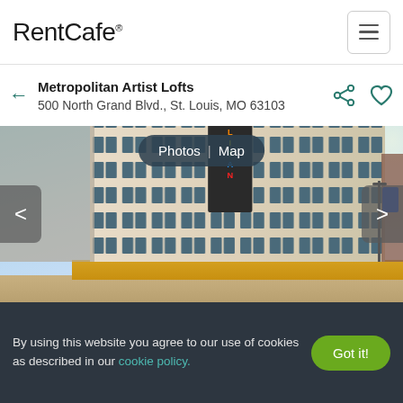RentCafe®
Metropolitan Artist Lofts
500 North Grand Blvd., St. Louis, MO 63103
[Figure (photo): Exterior photo of Metropolitan Artist Lofts building — a large historic multi-story building with a colorful vertical 'METROPOLITAN' sign on the corner, blue sky background, street level view]
By using this website you agree to our use of cookies as described in our cookie policy.